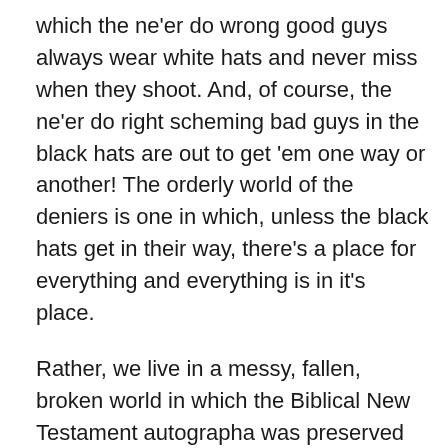which the ne'er do wrong good guys always wear white hats and never miss when they shoot. And, of course, the ne'er do right scheming bad guys in the black hats are out to get 'em one way or another! The orderly world of the deniers is one in which, unless the black hats get in their way, there's a place for everything and everything is in it's place.
Rather, we live in a messy, fallen, broken world in which the Biblical New Testament autographa was preserved by massive, unsupervised, dissemination by all God's people – commoner, priest, and king – who, with the best of intentions and motives; and with as much skill as they could muster, still managed to create a massive jigsaw puzzle for those who followed in their wake to reassemble. It's both a blessing and a curse that there are multiple pieces of every piece of the original, leaving us in a situation where…